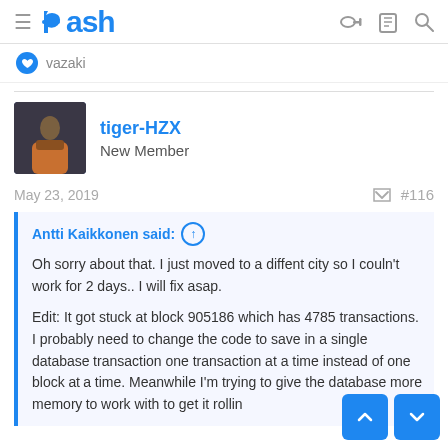Dash
vazaki
tiger-HZX
New Member
May 23, 2019   #116
Antti Kaikkonen said: ↑

Oh sorry about that. I just moved to a diffent city so I couln't work for 2 days.. I will fix asap.

Edit: It got stuck at block 905186 which has 4785 transactions. I probably need to change the code to save in a single database transaction one transaction at a time instead of one block at a time. Meanwhile I'm trying to give the database more memory to work with to get it rolling again.